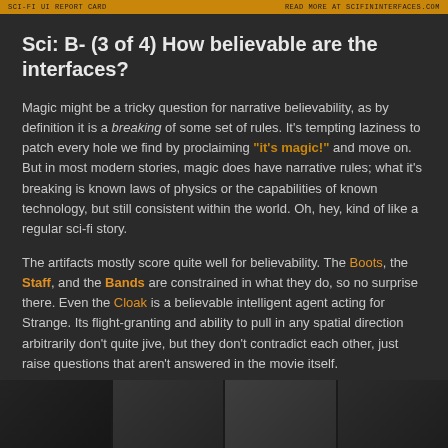SCI-FI UI REPORT CARD | READ MORE AT SCIFININTERFACES.COM
Sci: B- (3 of 4) How believable are the interfaces?
Magic might be a tricky question for narrative believability, as by definition it is a breaking of some set of rules. It's tempting laziness to patch every hole we find by proclaiming "it's magic!" and move on. But in most modern stories, magic does have narrative rules; what it's breaking is known laws of physics or the capabilities of known technology, but still consistent within the world. Oh, hey, kind of like a regular sci-fi story.
The artifacts mostly score quite well for believability. The Boots, the Staff, and the Bands are constrained in what they do, so no surprise there. Even the Cloak is a believable intelligent agent acting for Strange. Its flight-granting and ability to pull in any spatial direction arbitrarily don't quite jive, but they don't contradict each other, just raise questions that aren't answered in the movie itself.
[Figure (photo): Four movie still images shown in a row at the bottom of the page, dark scenes from a film]